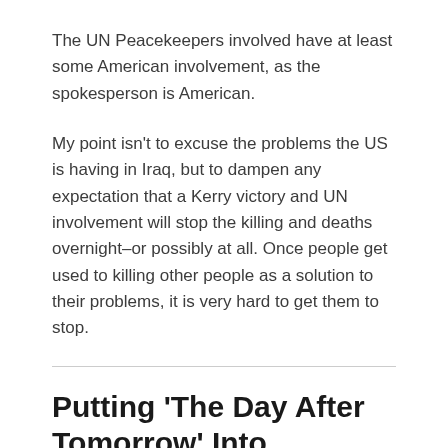The UN Peacekeepers involved have at least some American involvement, as the spokesperson is American.
My point isn't to excuse the problems the US is having in Iraq, but to dampen any expectation that a Kerry victory and UN involvement will stop the killing and deaths overnight–or possibly at all. Once people get used to killing other people as a solution to their problems, it is very hard to get them to stop.
Putting 'The Day After Tomorrow' Into Perspective